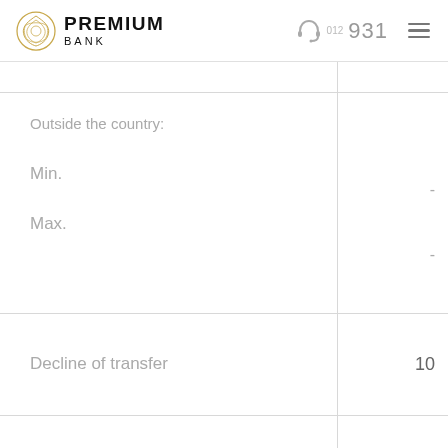PREMIUM BANK  012 931
|  |  |
| --- | --- |
|  |  |
| Outside the country:
Min.
Max. | -
- |
| Decline of transfer | 10 |
|  |  |